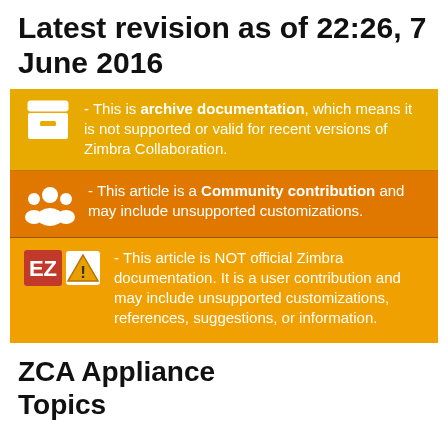Latest revision as of 22:26, 7 June 2016
- This is archive documentation, which means it is not supported or valid for recent versions of Zimbra Collaboration.
- This article is a Community contribution and may include unsupported customizations.
- This article is NOT official Zimbra documentation. It is a user contribution and may include unsupported customizations, references, suggestions, or information.
ZCA Appliance Topics